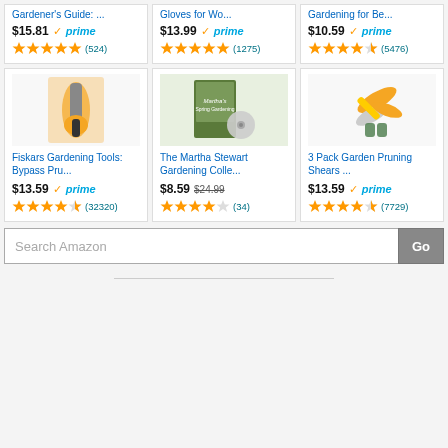[Figure (screenshot): Amazon product listing page showing 6 gardening products in a 3-column grid with prices, Prime badges, star ratings, and review counts. A search bar at the bottom reads 'Search Amazon' with a 'Go' button.]
Gardener's Guide: ...
$15.81 prime (524)
Gloves for Wo...
$13.99 prime (1275)
Gardening for Be...
$10.59 prime (5476)
Fiskars Gardening Tools: Bypass Pru...
$13.59 prime (32320)
The Martha Stewart Gardening Colle...
$8.59 $24.99 (34)
3 Pack Garden Pruning Shears ...
$13.59 prime (7729)
Search Amazon